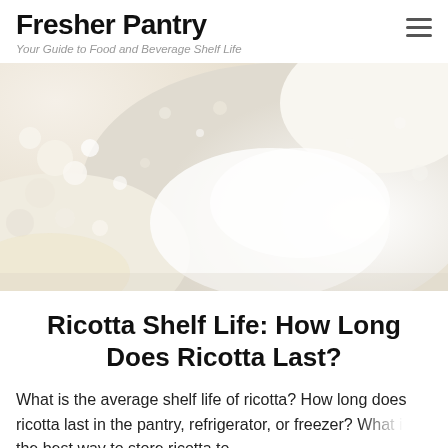Fresher Pantry — Your Guide to Food and Beverage Shelf Life
[Figure (photo): Close-up macro photograph of white creamy ricotta cheese texture, showing soft curds and smooth areas with slight yellow tones.]
Ricotta Shelf Life: How Long Does Ricotta Last?
What is the average shelf life of ricotta? How long does ricotta last in the pantry, refrigerator, or freezer? What is the best way to store ricotta to